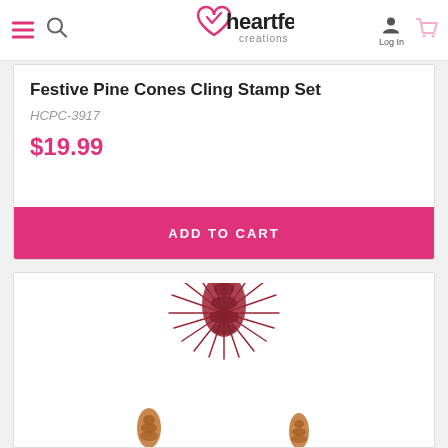Heartfelt Creations — navigation header with logo, menu, search, login, cart
Festive Pine Cones Cling Stamp Set
HCPC-3917
$19.99
ADD TO CART
[Figure (photo): Partial view of a second product card showing pine cone stamp images — a decorative pine cone illustration in dark red/brown tones]